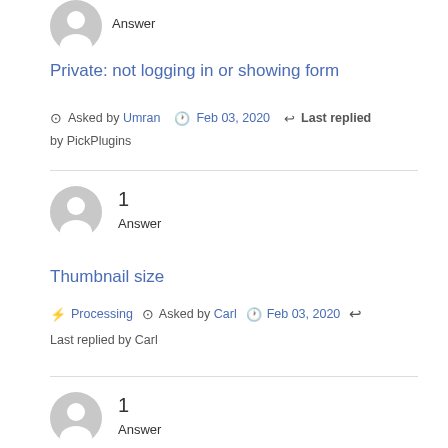[Figure (illustration): Grey avatar circle icon at top left]
Answer
Private: not logging in or showing form
Asked by Umran   Feb 03, 2020   Last replied by PickPlugins
[Figure (illustration): Grey avatar circle icon]
1
Answer
Thumbnail size
Processing   Asked by Carl   Feb 03, 2020   Last replied by Carl
[Figure (illustration): Grey avatar circle icon at bottom]